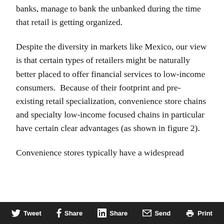banks, manage to bank the unbanked during the time that retail is getting organized.
Despite the diversity in markets like Mexico, our view is that certain types of retailers might be naturally better placed to offer financial services to low-income consumers.  Because of their footprint and pre-existing retail specialization, convenience store chains and specialty low-income focused chains in particular have certain clear advantages (as shown in figure 2).
Convenience stores typically have a widespread
Tweet  Share  Share  Send  Print